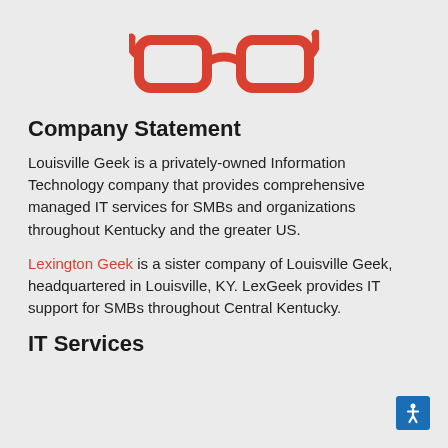[Figure (logo): Red glasses/spectacles logo icon]
Company Statement
Louisville Geek is a privately-owned Information Technology company that provides comprehensive managed IT services for SMBs and organizations throughout Kentucky and the greater US.
Lexington Geek is a sister company of Louisville Geek, headquartered in Louisville, KY. LexGeek provides IT support for SMBs throughout Central Kentucky.
IT Services